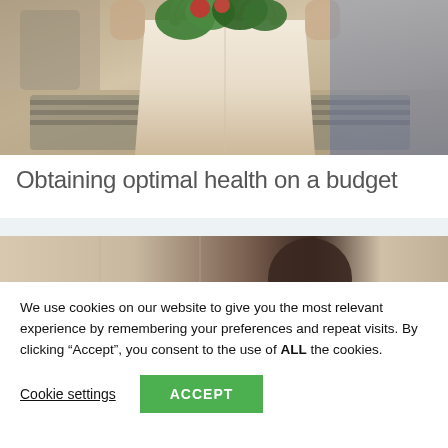[Figure (photo): Photo of a person holding a canvas tote bag filled with fresh groceries and leafy greens, placed on a table with a placemat]
Obtaining optimal health on a budget
[Figure (photo): Partial photo of a person, background with light interior]
We use cookies on our website to give you the most relevant experience by remembering your preferences and repeat visits. By clicking “Accept”, you consent to the use of ALL the cookies.
Cookie settings  ACCEPT